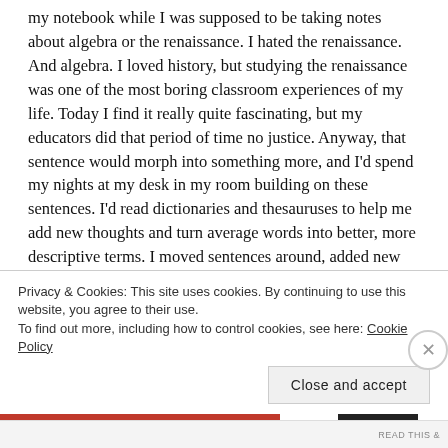my notebook while I was supposed to be taking notes about algebra or the renaissance. I hated the renaissance. And algebra. I loved history, but studying the renaissance was one of the most boring classroom experiences of my life. Today I find it really quite fascinating, but my educators did that period of time no justice. Anyway, that sentence would morph into something more, and I'd spend my nights at my desk in my room building on these sentences. I'd read dictionaries and thesauruses to help me add new thoughts and turn average words into better, more descriptive terms. I moved sentences around, added new words, built better rhymes. Sometimes I erased everything and started over again. I ripped up entire pages and burned them over the
Privacy & Cookies: This site uses cookies. By continuing to use this website, you agree to their use. To find out more, including how to control cookies, see here: Cookie Policy
Close and accept